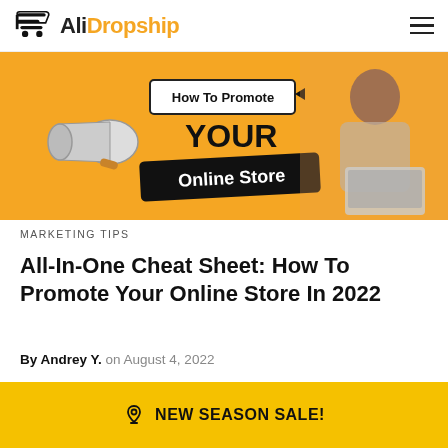AliDropship
[Figure (illustration): Promotional banner showing 'How To Promote YOUR Online Store' with a megaphone graphic and a woman working on a laptop, yellow background]
MARKETING TIPS
All-In-One Cheat Sheet: How To Promote Your Online Store In 2022
By Andrey Y. on August 4, 2022
NEW SEASON SALE!